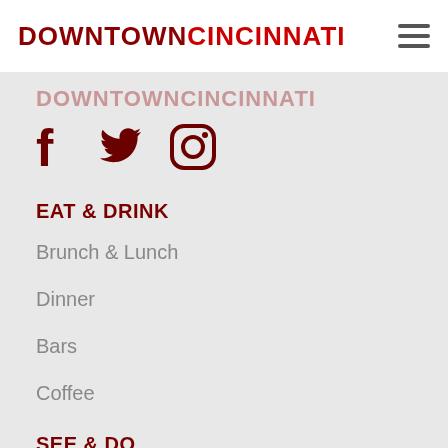DOWNTOWNCINCINNATI
DOWNTOWNCINCINNATI (faded logo in panel)
[Figure (other): Social media icons: Facebook (f), Twitter (bird), Instagram (camera)]
EAT & DRINK
Brunch & Lunch
Dinner
Bars
Coffee
SEE & DO
Events